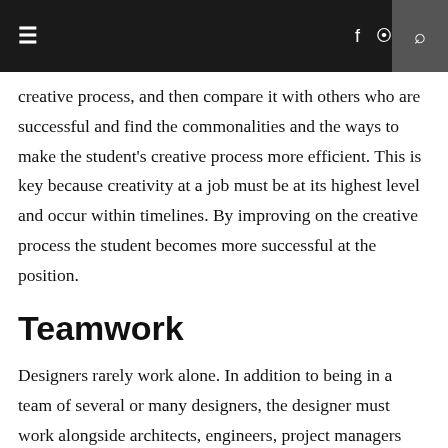≡  f ))) Q
creative process, and then compare it with others who are successful and find the commonalities and the ways to make the student's creative process more efficient. This is key because creativity at a job must be at its highest level and occur within timelines. By improving on the creative process the student becomes more successful at the position.
Teamwork
Designers rarely work alone. In addition to being in a team of several or many designers, the designer must work alongside architects, engineers, project managers and other related professionals. So the person must not only be